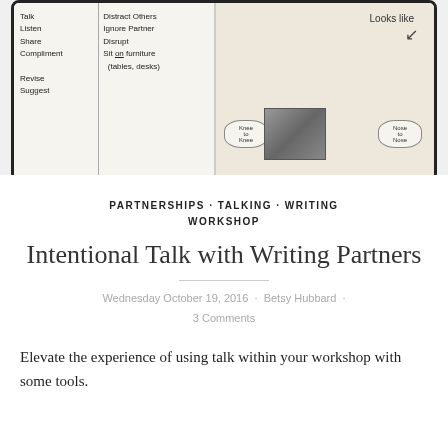[Figure (photo): Photo of classroom anchor charts showing writing partnership activities with handwritten lists, and a 'Looks like' chart with student photos and labels like 'Knee to Knee' and 'Nose to Nose']
PARTNERSHIPS · TALKING · WRITING WORKSHOP
Intentional Talk with Writing Partners
Wednesday October 19, 2016 · Betsy Hubbard · 3 Comments
Elevate the experience of using talk within your workshop with some tools.